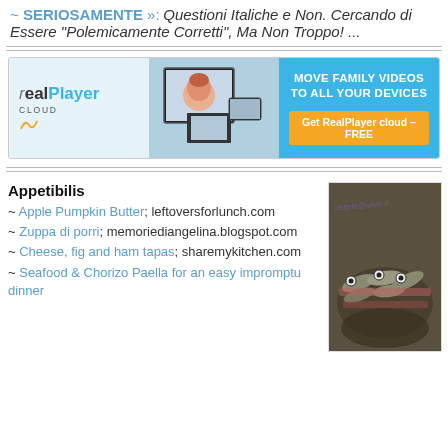~ SERIOSAMENTE »: Questioni Italiche e Non. Cercando di Essere "Polemicamente Corretti", Ma Non Troppo! ...
[Figure (screenshot): RealPlayer Cloud advertisement banner: logo on left, photo of child in pink hat in middle, blue panel on right with text 'MOVE FAMILY VIDEOS TO ALL YOUR DEVICES' and orange button 'Get RealPlayer cloud - FREE']
Appetibilis
~ Apple Pumpkin Butter; leftoversforlunch.com
~ Zuppa di porri; memoriediangelina.blogspot.com
~ Cheese, fig and ham tapas; sharemykitchen.com
~ Seafood & Chorizo Paella for an easy impromptu dinner
[Figure (photo): Close-up photo of sardines or anchovies stacked together, with a watermark text in italic script]